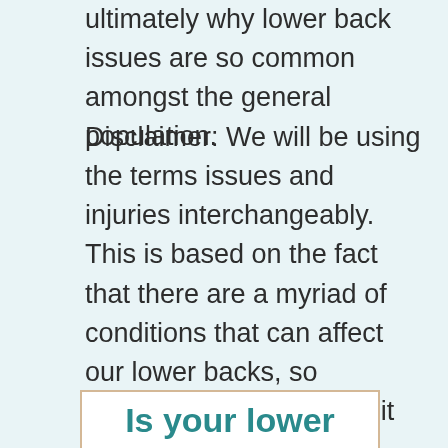ultimately why lower back issues are so common amongst the general population.
Disclaimer: We will be using the terms issues and injuries interchangeably. This is based on the fact that there are a myriad of conditions that can affect our lower backs, so generalizing this a little bit will help with the overall comprehension of the conditions.
Is your lower